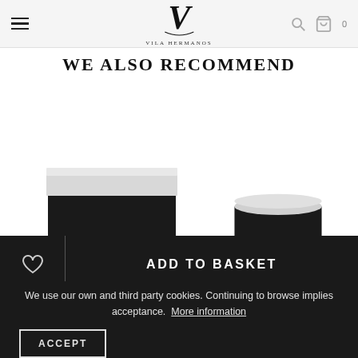VILA HERMANOS — navigation header with hamburger menu, logo, search, bag icons
WE ALSO RECOMMEND
[Figure (photo): Product image: square black box with white lid on the left, and a round white/grey lidded candle jar on the right, on white background]
ADD TO BASKET
We use our own and third party cookies. Continuing to browse implies acceptance. More information
ACCEPT